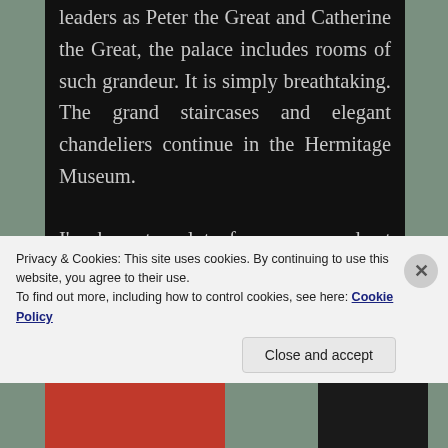leaders as Peter the Great and Catherine the Great, the palace includes rooms of such grandeur. It is simply breathtaking. The grand staircases and elegant chandeliers continue in the Hermitage Museum.

I've been to a lot of museums and art galleries in my life, and each one is unique and special. However, I
Privacy & Cookies: This site uses cookies. By continuing to use this website, you agree to their use.
To find out more, including how to control cookies, see here: Cookie Policy
Close and accept